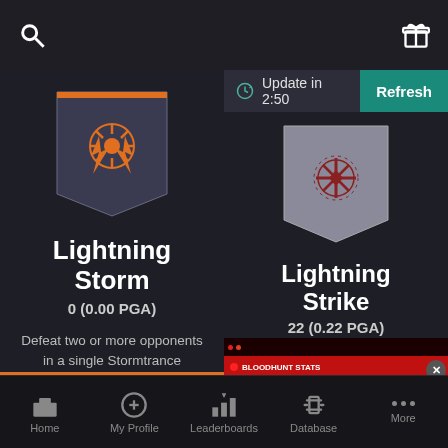Search | Gift
Update in 2:50 | Refresh
[Figure (illustration): Lightning Storm medal badge - orange lightning bolt sun emblem on dark shield/pennant background]
Lightning Storm
0 (0.00 PGA)
Defeat two or more opponents in a single Stormtrance activation.
[Figure (illustration): Lightning Strike medal badge - dark red snowflake/star emblem on grey shield/pennant background]
Lightning Strike
22 (0.22 PGA)
[Figure (screenshot): Screenshot of a Bloodhunt Stats website/app showing game statistics and weekly video thumbnails]
Home | My Profile | Leaderboards | Database | More